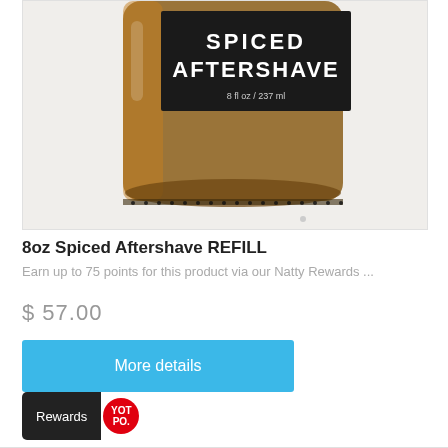[Figure (photo): Product photo of an amber glass bottle of Spiced Aftershave with a dark label reading 'SPICED AFTERSHAVE 8 fl oz / 237 ml', shown from above on a white background]
8oz Spiced Aftershave REFILL
Earn up to 75 points for this product via our Natty Rewards ...
$ 57.00
More details
Rewards YOT PO.